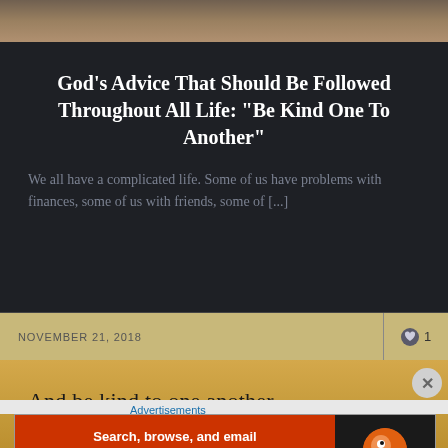[Figure (photo): Partial top of a nature/ground photo in sepia tones]
God’s Advice That Should Be Followed Throughout All Life: “Be Kind One To Another”
We all have a complicated life. Some of us have problems with finances, some of us with friends, some of [...]
NOVEMBER 21, 2018
1
[Figure (photo): Desert sandy background with text overlay: And be kind to one another, tenderhearted.]
Advertisements
[Figure (screenshot): DuckDuckGo advertisement banner: Search, browse, and email with more privacy. All in One Free App]